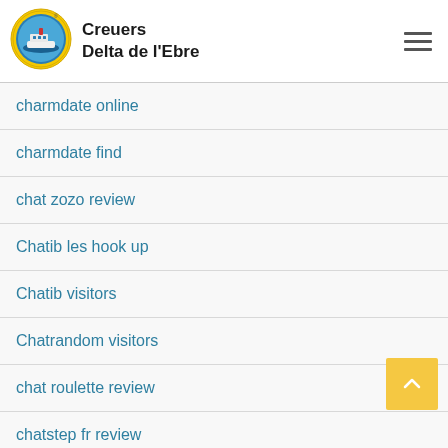[Figure (logo): Creuers Delta de l'Ebre circular logo with ship and yellow border]
Creuers Delta de l'Ebre
charmdate online
charmdate find
chat zozo review
Chatib les hook up
Chatib visitors
Chatrandom visitors
chat roulette review
chatstep fr review